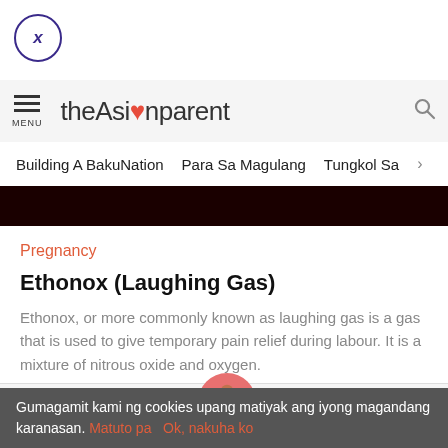[Figure (screenshot): Close button circle with X icon in purple/navy outline, top left corner]
theAsianparent — MENU and search icon navigation bar
Building A BakuNation   Para Sa Magulang   Tungkol Sa >
[Figure (other): Dark maroon/black banner bar]
Pregnancy
Ethonox (Laughing Gas)
Ethonox, or more commonly known as laughing gas is a gas that is used to give temporary pain relief during labour. It is a mixture of nitrous oxide and oxygen.
Tools | Articles | [home icon] | Feed | Poll
Gumagamit kami ng cookies upang matiyak ang iyong magandang karanasan. Matuto pa   Ok, nakuha ko